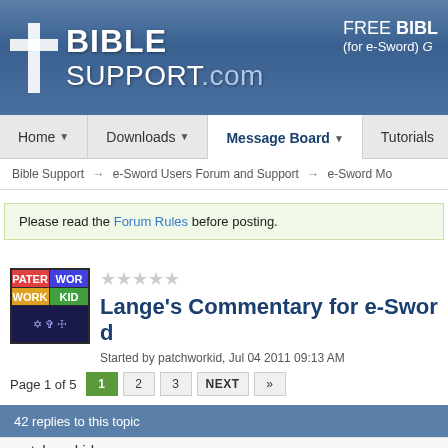BIBLE SUPPORT.com — FREE BIBLE (for e-Sword)
Home | Downloads | Message Board | Tutorials
Bible Support → e-Sword Users Forum and Support → e-Sword Mo
Please read the Forum Rules before posting.
Lange's Commentary for e-Sword
Started by patchworkid, Jul 04 2011 09:13 AM
Page 1 of 5  1  2  3  NEXT  »
42 replies to this topic
patchworkid